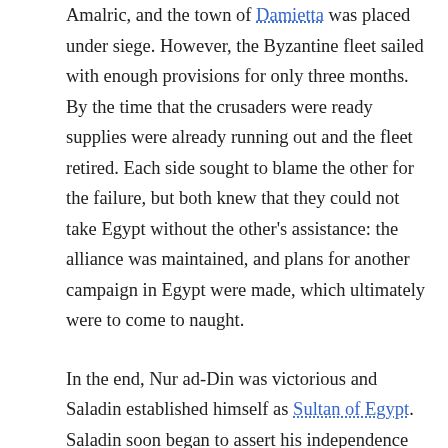Amalric, and the town of Damietta was placed under siege. However, the Byzantine fleet sailed with enough provisions for only three months. By the time that the crusaders were ready supplies were already running out and the fleet retired. Each side sought to blame the other for the failure, but both knew that they could not take Egypt without the other's assistance: the alliance was maintained, and plans for another campaign in Egypt were made, which ultimately were to come to naught.
In the end, Nur ad-Din was victorious and Saladin established himself as Sultan of Egypt. Saladin soon began to assert his independence from Nur ad-Din, and with the death of both Amalric and Nur ad-Din in 1174, he was well-placed to begin exerting control over Nur ad-Din's Syrian